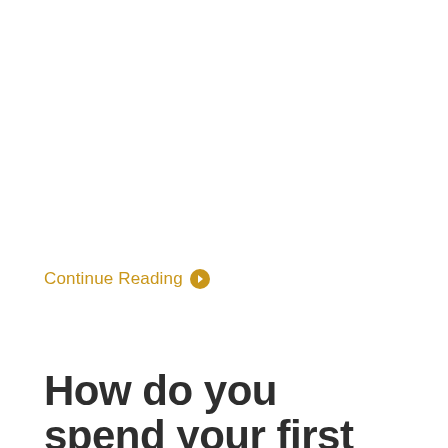Continue Reading →
How do you spend your first paycheck? A finance expert